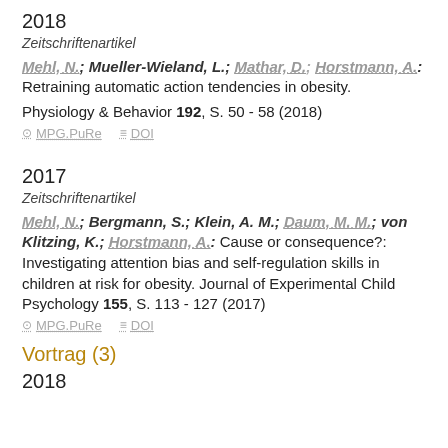2018
Zeitschriftenartikel
Mehl, N.; Mueller-Wieland, L.; Mathar, D.; Horstmann, A.: Retraining automatic action tendencies in obesity. Physiology & Behavior 192, S. 50 - 58 (2018)
MPG.PuRe   DOI
2017
Zeitschriftenartikel
Mehl, N.; Bergmann, S.; Klein, A. M.; Daum, M. M.; von Klitzing, K.; Horstmann, A.: Cause or consequence?: Investigating attention bias and self-regulation skills in children at risk for obesity. Journal of Experimental Child Psychology 155, S. 113 - 127 (2017)
MPG.PuRe   DOI
Vortrag (3)
2018